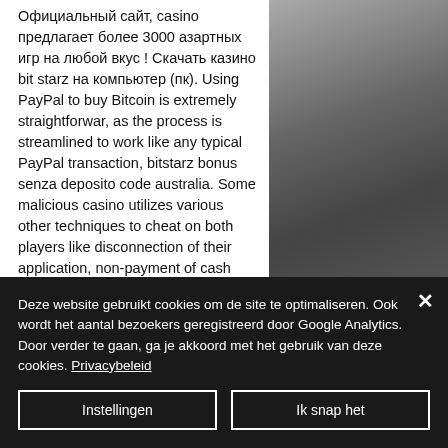Официальный сайт, casino предлагает более 3000 азартных игр на любой вкус ! Скачать казино bit starz на компьютер (пк). Using PayPal to buy Bitcoin is extremely straightforwar, as the process is streamlined to work like any typical PayPal transaction, bitstarz bonus senza deposito code australia. Some malicious casino utilizes various other techniques to cheat on both players like disconnection of their application, non-payment of cash and a number of different such forms of tasks. This makes sens, as it doesn't require any kind of
[Figure (photo): Black and white photo of people in a room, partially visible on the right side of the page]
Deze website gebruikt cookies om de site te optimaliseren. Ook wordt het aantal bezoekers geregistreerd door Google Analytics.
Door verder te gaan, ga je akkoord met het gebruik van deze cookies. Privacybeleid